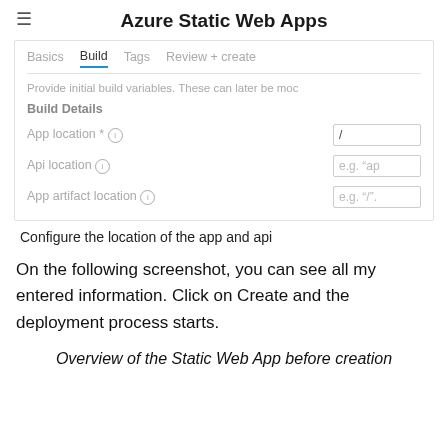Azure Static Web Apps
[Figure (screenshot): Azure portal screenshot showing Build tab of Azure Static Web Apps creation wizard. Contains navigation tabs: Basics, Build (active/selected with blue underline), Tags, Review + create. Shows description text 'Provide initial build variables. These can later be mod'. Under Build Details section: App location * with info icon and input field showing '/', Api location with info icon and placeholder 'e.g. "ap', App artifact location with info icon and placeholder 'e.g. "/".]
Configure the location of the app and api
On the following screenshot, you can see all my entered information. Click on Create and the deployment process starts.
Overview of the Static Web App before creation